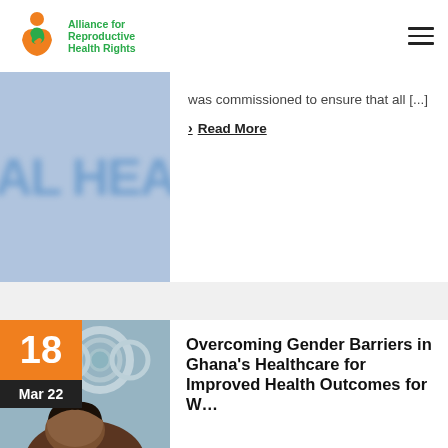Alliance for Reproductive Health Rights
[Figure (photo): Partial blurred image showing large text 'AL HEA' in blue tones, representing a health-related publication cover]
was commissioned to ensure that all [...]
> Read More
[Figure (photo): Photo of a person with date badge showing 18 Mar 22, background shows decorative architectural elements]
Overcoming Gender Barriers in Ghana's Healthcare for Improved Health Outcomes for Women